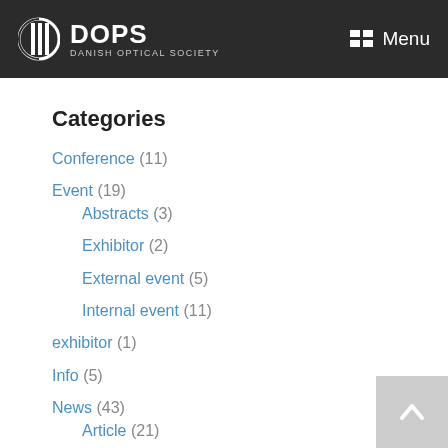DOPS DANISH OPTICAL SOCIETY Menu
Categories
Conference (11)
Event (19)
Abstracts (3)
Exhibitor (2)
External event (5)
Internal event (11)
exhibitor (1)
Info (5)
News (43)
Article (21)
Book (1)
Press release (4)
Newsletter (?)